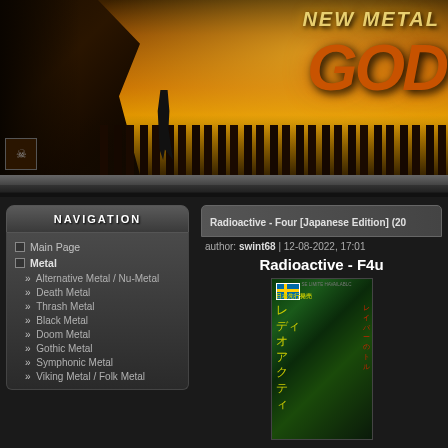[Figure (illustration): Website header banner with dark apocalyptic orange/amber sky scene, figure standing on ruins overlooking a destroyed city, with 'NEW METAL' text and stylized logo on the right side]
NAVIGATION
Main Page
Metal
» Alternative Metal / Nu-Metal
» Death Metal
» Thrash Metal
» Black Metal
» Doom Metal
» Gothic Metal
» Symphonic Metal
» Viking Metal / Folk Metal
Radioactive - Four [Japanese Edition] (20
author: swint68 | 12-08-2022, 17:01
Radioactive - F4u
[Figure (photo): Album cover for Radioactive Japanese Edition with Swedish flag, Japanese text in yellow characters, Japanese kanji on dark green background]